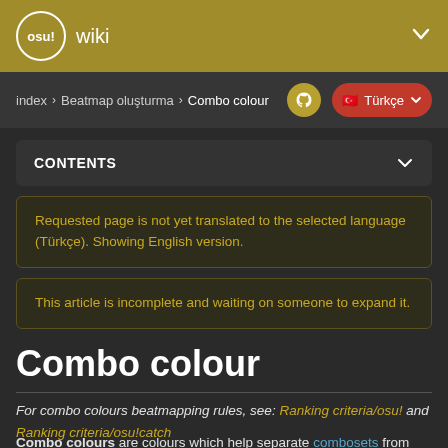osu! wiki
index > Beatmap oluşturma > Combo colour — Türkçe
CONTENTS
Requested page is not yet translated to the selected language (Türkçe). Showing English version.
This article is incomplete and waiting on someone to expand it.
Combo colour
For combo colours beatmapping rules, see: Ranking criteria/osu! and Ranking criteria/osu!catch
Combo colours are colours which help separate combosets from another. Combo colours apply to all hit objects in a